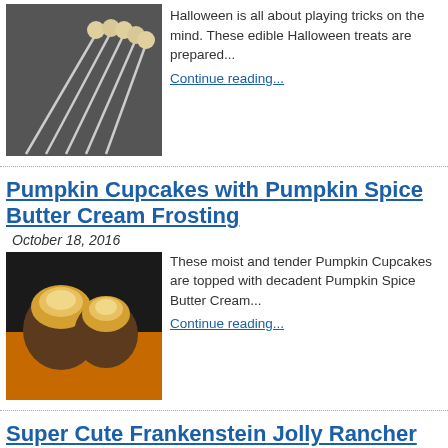[Figure (photo): Halloween treats on sticks arranged on a dark surface]
Halloween is all about playing tricks on the mind.  These edible Halloween treats are prepared...
Continue reading...
Pumpkin Cupcakes with Pumpkin Spice Butter Cream Frosting
October 18, 2016
[Figure (photo): Pumpkin cupcakes with butter cream frosting on orange surface]
These moist and tender Pumpkin Cupcakes are topped with decadent Pumpkin Spice Butter Cream...
Continue reading...
Super Cute Frankenstein Jolly Rancher Suckers
October 18, 2016
[Figure (photo): Green Frankenstein-themed Jolly Rancher suckers on black background]
You don't need lightning or a fancy laboratory to make these adorable creations. These cute...
Continue reading...